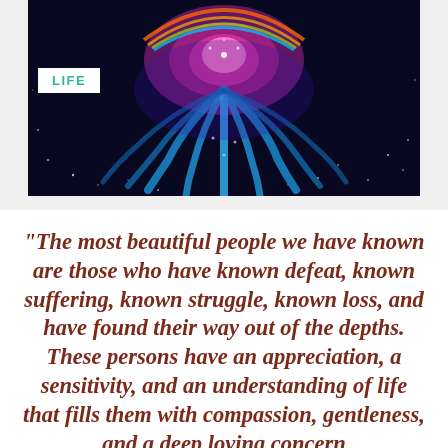[Figure (illustration): Colorful psychedelic cosmic eye or mandala illustration with blue, purple, pink hues on a dark starry background. A white badge with teal 'LIFE' text is overlaid on the left side.]
“The most beautiful people we have known are those who have known defeat, known suffering, known struggle, known loss, and have found their way out of the depths. These persons have an appreciation, a sensitivity, and an understanding of life that fills them with compassion, gentleness, and a deep loving concern